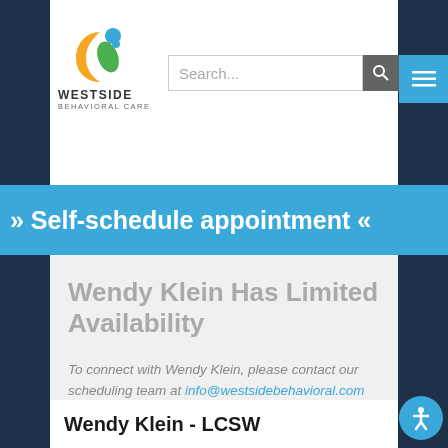[Figure (logo): Westside Behavioral Care logo with crescent moon and leaf/person icon in blue, orange, and green colors]
» Self-schedule appointment «
Wendy Klein Has Limited Availability
To connect with Wendy Klein, please contact our scheduling team at info@westsidebehavioral.com any time.
Wendy Klein - LCSW